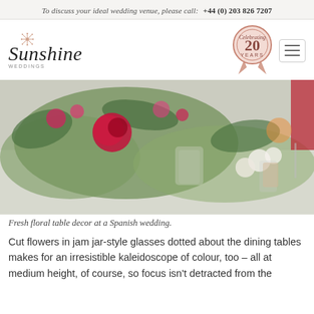To discuss your ideal wedding venue, please call:  +44 (0) 203 826 7207
[Figure (logo): Sunshine Weddings logo with decorative star and 'WEDDINGS' subtitle]
[Figure (illustration): Anniversary badge: '20 YEARS' rosette in pink/rose gold]
[Figure (photo): Fresh floral table decor at a Spanish wedding — red roses and mixed flowers in jam jar glasses on a white tablecloth]
Fresh floral table decor at a Spanish wedding.
Cut flowers in jam jar-style glasses dotted about the dining tables makes for an irresistible kaleidoscope of colour, too – all at medium height, of course, so focus isn't detracted from the